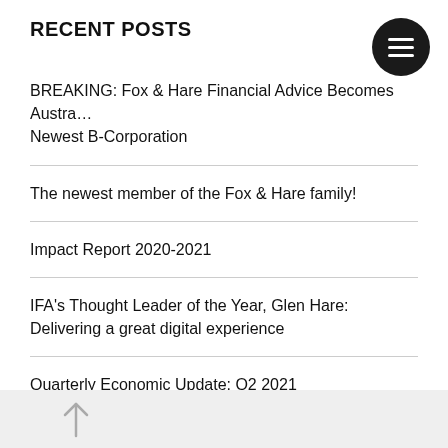RECENT POSTS
BREAKING: Fox & Hare Financial Advice Becomes Australia's Newest B-Corporation
The newest member of the Fox & Hare family!
Impact Report 2020-2021
IFA's Thought Leader of the Year, Glen Hare: Delivering a great digital experience
Quarterly Economic Update: Q2 2021